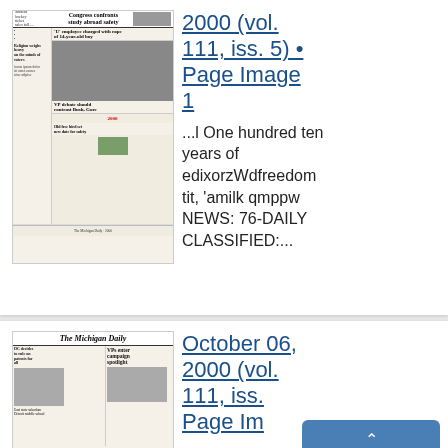[Figure (photo): Scanned front page of a student newspaper showing articles including 'Congress confronts study abroad safety', a chess game photo, and other headlines]
2000 (vol. 111, iss. 5) • Page Image 1
...l One hundred ten years of edixorzWdfreedom tit, 'amilk qmppw NEWS: 76-DAILY CLASSIFIED:...
[Figure (photo): Scanned front page of The Michigan Daily newspaper with headline 'VPs enter campaign spotlight']
October 06, 2000 (vol. 111, iss. • Page Im 1